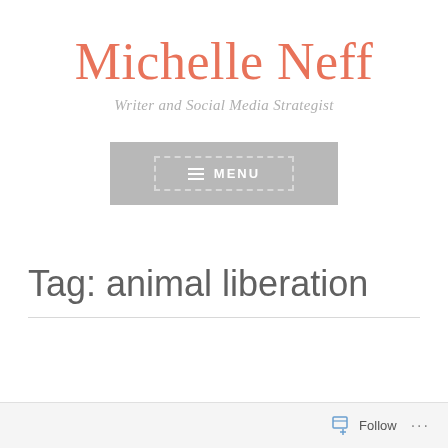Michelle Neff
Writer and Social Media Strategist
[Figure (screenshot): Gray menu button with dashed border inner outline and hamburger icon followed by text MENU]
Tag: animal liberation
Follow ...